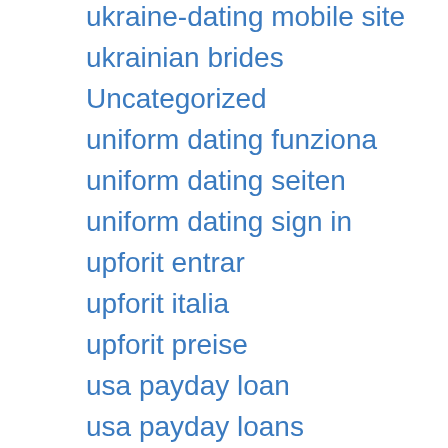ukraine-dating mobile site
ukrainian brides
Uncategorized
uniform dating funziona
uniform dating seiten
uniform dating sign in
upforit entrar
upforit italia
upforit preise
usa payday loan
usa payday loans
ut sugar daddy website
vacaville escort
vallejo escort
vancouver escort